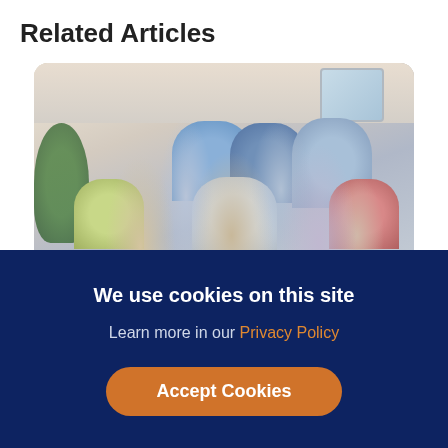Related Articles
[Figure (photo): Group of five people gathered around a desk in an office, looking at something together. Three people standing in background (man with dark curly hair in blue blazer, man in light blue shirt, woman with dark hair), and two people in foreground (woman with glasses on left, bearded man in center smiling). A yellow badge/label reading 'Adelaide' visible at bottom left of image.]
We use cookies on this site
Learn more in our Privacy Policy
Accept Cookies